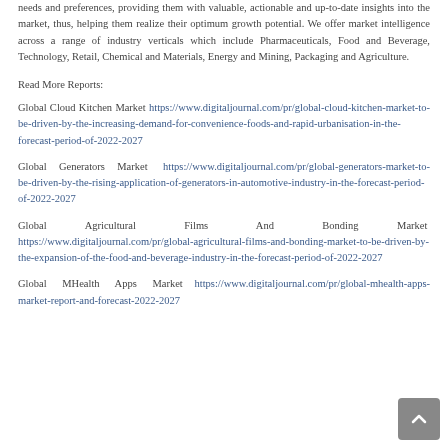needs and preferences, providing them with valuable, actionable and up-to-date insights into the market, thus, helping them realize their optimum growth potential. We offer market intelligence across a range of industry verticals which include Pharmaceuticals, Food and Beverage, Technology, Retail, Chemical and Materials, Energy and Mining, Packaging and Agriculture.
Read More Reports:
Global Cloud Kitchen Market https://www.digitaljournal.com/pr/global-cloud-kitchen-market-to-be-driven-by-the-increasing-demand-for-convenience-foods-and-rapid-urbanisation-in-the-forecast-period-of-2022-2027
Global Generators Market https://www.digitaljournal.com/pr/global-generators-market-to-be-driven-by-the-rising-application-of-generators-in-automotive-industry-in-the-forecast-period-of-2022-2027
Global Agricultural Films And Bonding Market https://www.digitaljournal.com/pr/global-agricultural-films-and-bonding-market-to-be-driven-by-the-expansion-of-the-food-and-beverage-industry-in-the-forecast-period-of-2022-2027
Global MHealth Apps Market https://www.digitaljournal.com/pr/global-mhealth-apps-market-report-and-forecast-2022-2027